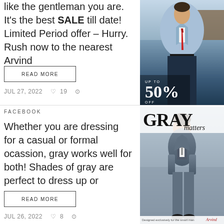like the gentleman you are. It's the best SALE till date! Limited Period offer – Hurry. Rush now to the nearest Arvind
READ MORE
JUL 27, 2022  ♡ 19
[Figure (photo): Man in light blue blazer and red tie with dark trousers. Overlay text: UP TO 50% OFF]
FACEBOOK
Whether you are dressing for a casual or formal ocassion, gray works well for both! Shades of gray are perfect to dress up or
READ MORE
JUL 26, 2022  ♡ 8
[Figure (photo): GRAY matters — Man in gray three-piece suit standing outdoors. Caption: Designed exclusively for the smart man. Arvind logo.]